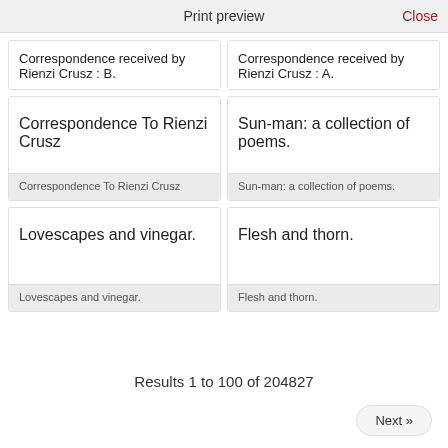Print preview   Close
Correspondence received by Rienzi Crusz : B.
Correspondence received by Rienzi Crusz : A.
Correspondence To Rienzi Crusz
Correspondence To Rienzi Crusz
Sun-man: a collection of poems.
Sun-man: a collection of poems.
Lovescapes and vinegar.
Lovescapes and vinegar.
Flesh and thorn.
Flesh and thorn.
Results 1 to 100 of 204827
Next »